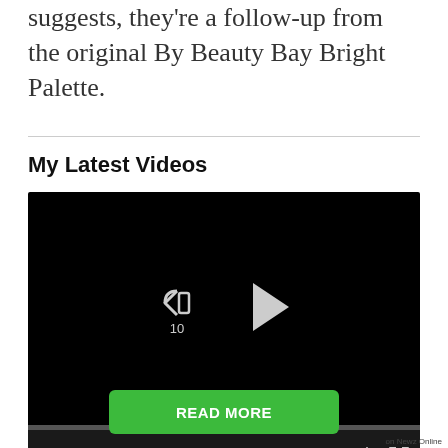suggests, they're a follow-up from the original By Beauty Bay Bright Palette.
My Latest Videos
[Figure (screenshot): Embedded video player showing a black video with rewind and play controls, progress bar, time display 00:00 / 00:34, volume muted icon, settings gear icon, and fullscreen icon.]
Just like the retailer's Earthy Berries and Midnight Palette, the By Beauty Bay
READ MORE